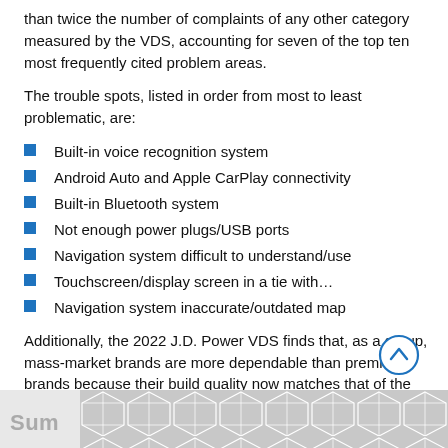than twice the number of complaints of any other category measured by the VDS, accounting for seven of the top ten most frequently cited problem areas.
The trouble spots, listed in order from most to least problematic, are:
Built-in voice recognition system
Android Auto and Apple CarPlay connectivity
Built-in Bluetooth system
Not enough power plugs/USB ports
Navigation system difficult to understand/use
Touchscreen/display screen in a tie with…
Navigation system inaccurate/outdated map
Additionally, the 2022 J.D. Power VDS finds that, as a group, mass-market brands are more dependable than premium brands because their build quality now matches that of the more expensive vehicles, and they contain less technology
Sum